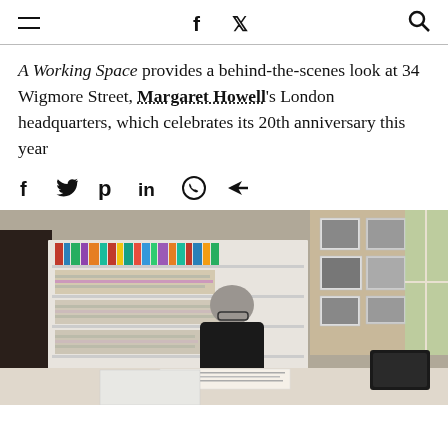Navigation header with hamburger menu, Facebook and Twitter icons, and search icon
A Working Space provides a behind-the-scenes look at 34 Wigmore Street, Margaret Howell's London headquarters, which celebrates its 20th anniversary this year
[Figure (other): Social sharing icons row: Facebook, Twitter, Pinterest, LinkedIn, WhatsApp, Share/forward]
[Figure (photo): Interior office photo showing a woman with short grey hair and glasses, wearing a black top, working at a desk with papers. Behind her are white shelving units filled with books and stacks of publications, and a wall covered with pinned photographs and images. A window with greenery is visible on the right.]